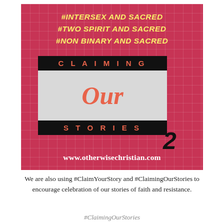[Figure (infographic): Red/crimson background infographic for 'Claiming Our Stories 2' showing hashtags #IntersexAndSacred, #TwoSpiritAndSacred, #NonBinaryAndSacred in yellow italic text at top, a black/grey/black banded title block reading 'CLAIMING Our STORIES' with a '2' badge, and website URL www.otherwisechristian.com at bottom, on www.otherwisechristian.com]
We are also using #ClaimYourStory and #ClaimingOurStories to encourage celebration of our stories of faith and resistance.
#ClaimingOurStories